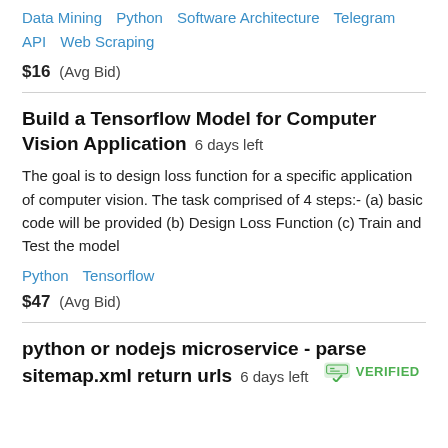Data Mining  Python  Software Architecture  Telegram API  Web Scraping
$16  (Avg Bid)
Build a Tensorflow Model for Computer Vision Application  6 days left
The goal is to design loss function for a specific application of computer vision. The task comprised of 4 steps:- (a) basic code will be provided (b) Design Loss Function (c) Train and Test the model
Python  Tensorflow
$47  (Avg Bid)
python or nodejs microservice - parse sitemap.xml return urls  6 days left  VERIFIED